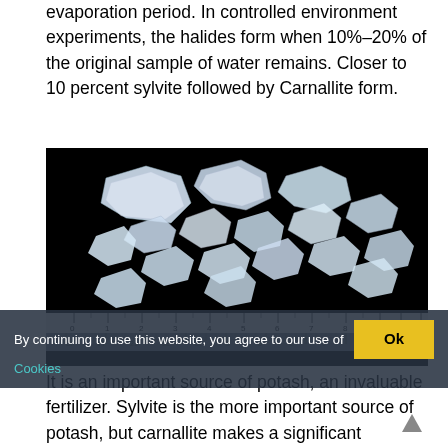evaporation period. In controlled environment experiments, the halides form when 10%–20% of the original sample of water remains. Closer to 10 percent sylvite followed by Carnallite form.
[Figure (photo): Photograph of multiple transparent/white crystalline mineral specimens (sylvite/carnallite crystals) scattered on a black background with a ruler visible at the bottom showing measurements from 0 to 11 cm.]
By continuing to use this website, you agree to our use of Cookies
It is an important source of potash, an invaluable fertilizer. Sylvite is the more important source of potash, but carnallite makes a significant contribution. Carnallite has an even greater amount of